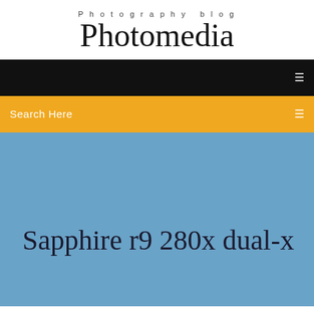Photography blog
Photomedia
[Figure (screenshot): Black navigation bar with white menu icon on right]
Search Here
Sapphire r9 280x dual-x